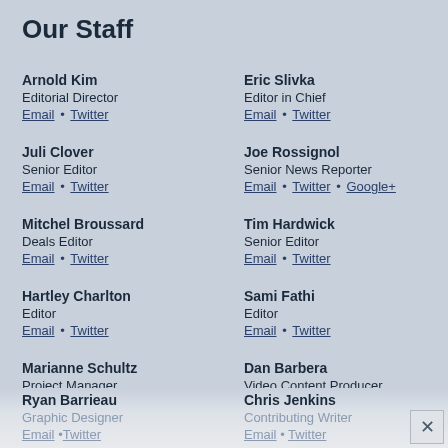Our Staff
Arnold Kim
Editorial Director
Email • Twitter
Eric Slivka
Editor in Chief
Email • Twitter
Juli Clover
Senior Editor
Email • Twitter
Joe Rossignol
Senior News Reporter
Email • Twitter • Google+
Mitchel Broussard
Deals Editor
Email • Twitter
Tim Hardwick
Senior Editor
Email • Twitter
Hartley Charlton
Editor
Email • Twitter
Sami Fathi
Editor
Email • Twitter
Marianne Schultz
Project Manager
Email • Twitter
Dan Barbera
Video Content Producer
Email • Twitter
Ryan Barrieau
Graphic Designer
Email • Twitter
Chris Jenkins
Contributing Writer
Email • Twitter